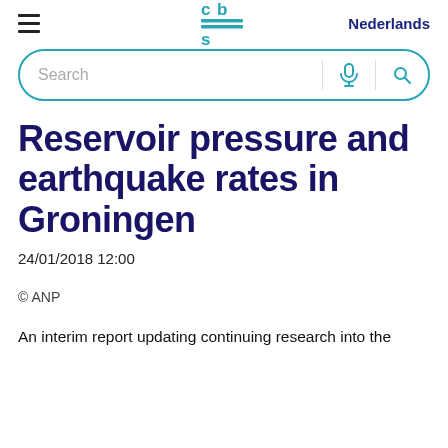Nederlands
[Figure (logo): CBS (Centraal Bureau voor de Statistiek) logo in teal/cyan color]
Reservoir pressure and earthquake rates in Groningen
24/01/2018 12:00
© ANP
An interim report updating continuing research into the